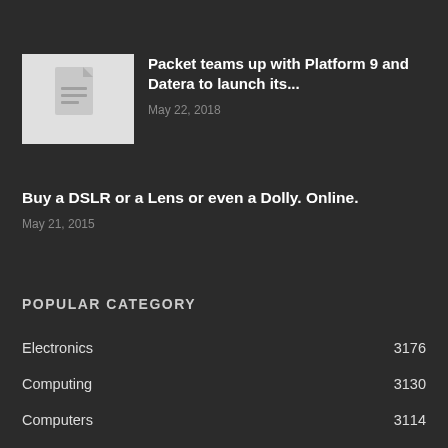[Figure (illustration): Document/file icon thumbnail in light gray background]
Packet teams up with Platform 9 and Datera to launch its...
May 22, 2018
Buy a DSLR or a Lens or even a Dolly. Online.
May 21, 2015
POPULAR CATEGORY
Electronics 3176
Computing 3130
Computers 3114
Tablets 3050